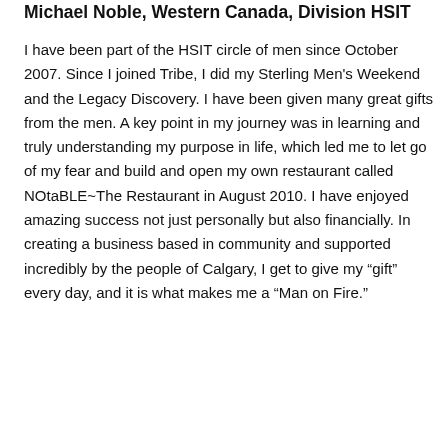Michael Noble, Western Canada, Division HSIT
I have been part of the HSIT circle of men since October 2007. Since I joined Tribe, I did my Sterling Men's Weekend and the Legacy Discovery. I have been given many great gifts from the men. A key point in my journey was in learning and truly understanding my purpose in life, which led me to let go of my fear and build and open my own restaurant called NOtaBLE~The Restaurant in August 2010. I have enjoyed amazing success not just personally but also financially. In creating a business based in community and supported incredibly by the people of Calgary, I get to give my “gift” every day, and it is what makes me a “Man on Fire.”